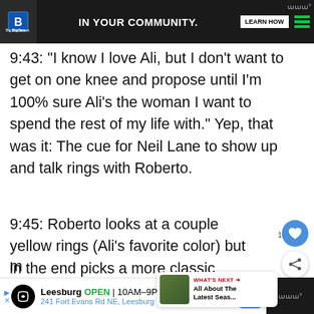[Figure (screenshot): Top advertisement banner: Big Brothers Big Sisters logo with text 'IN YOUR COMMUNITY.' and 'Learn How' button on dark background with green stripes]
9:43: “I know I love Ali, but I don’t want to get on one knee and propose until I’m 100% sure Ali’s the woman I want to spend the rest of my life with.” Yep, that was it: The cue for Neil Lane to show up and talk rings with Roberto.
9:45: Roberto looks at a couple yellow rings (Ali’s favorite color) but in the end picks a more classic looking ring. Smart guy still taking uncertainly about whether he sh... m...
[Figure (screenshot): Bottom advertisement banner: Leesburg store ad with OPEN 10AM-9PM, 241 Fort Evans Rd NE, Leesburg, with navigation icon]
[Figure (screenshot): What's Next panel showing 'All About The Latest Seas...' with thumbnail]